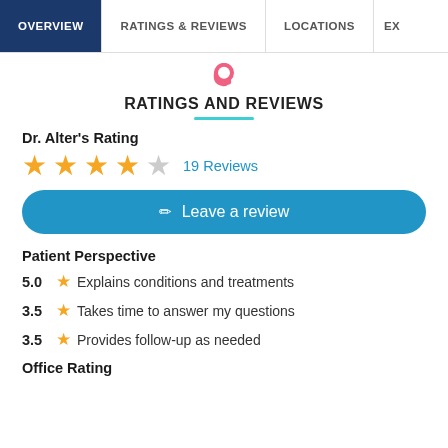OVERVIEW | RATINGS & REVIEWS | LOCATIONS | EX...
RATINGS AND REVIEWS
Dr. Alter's Rating
★★★½☆ 19 Reviews
Leave a review
Patient Perspective
5.0 ★ Explains conditions and treatments
3.5 ★ Takes time to answer my questions
3.5 ★ Provides follow-up as needed
Office Rating